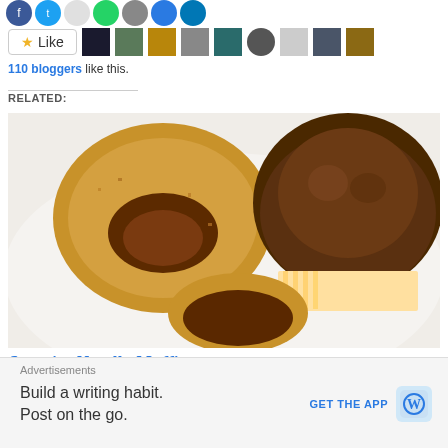[Figure (illustration): Social sharing icons row (circles in blue, teal, grey, green, black, dark blue, teal-blue)]
[Figure (illustration): Like button with star icon and a row of blogger avatar thumbnails]
110 bloggers like this.
RELATED:
[Figure (photo): Photo of Surprise Nutella Muffins: two muffins, one cut open showing chocolate Nutella filling, another whole muffin with cinnamon-sugar topping in a colorful cupcake liner]
Surprise Nutella Muffins
April 16, 2021
Advertisements
Build a writing habit. Post on the go.
GET THE APP